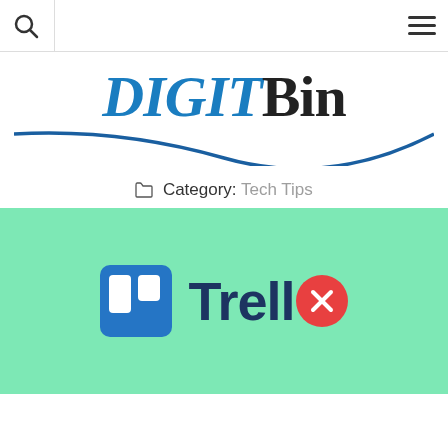DigitBin header with search and menu icons
[Figure (logo): DigitBin logo: DIGIT in blue italic serif, Bin in black serif, with a blue curved underline]
Category: Tech Tips
[Figure (logo): Trello logo with icon and text on mint green background, with red X replacing the last 'o']